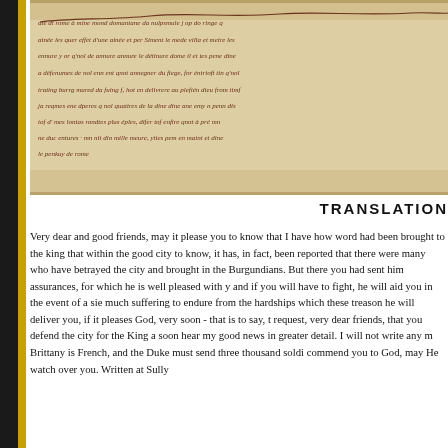[Figure (photo): Photograph of a medieval handwritten manuscript page with cursive script in dark ink on aged parchment/paper, showing multiple lines of old French text.]
TRANSLATION
Very dear and good friends, may it please you to know that I have how word had been brought to the king that within the good city to know, it has, in fact, been reported that there were many who have betrayed the city and brought in the Burgundians. But there you had sent him assurances, for which he is well pleased with y and if you will have to fight, he will aid you in the event of a sie much suffering to endure from the hardships which these treason he will deliver you, if it pleases God, very soon - that is to say, t request, very dear friends, that you defend the city for the King a soon hear my good news in greater detail. I will not write any m Brittany is French, and the Duke must send three thousand soldi commend you to God, may He watch over you. Written at Sully